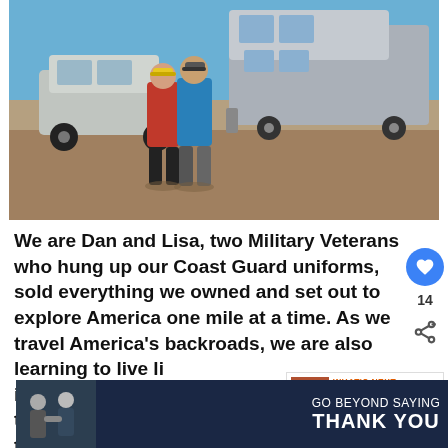[Figure (photo): Two people (a woman in red jacket with yellow cap and a man in blue shirt with cap) standing in front of a grey Class C motorhome/RV and a silver Jeep Wrangler on a gravel lot under blue sky.]
We are Dan and Lisa, two Military Veterans who hung up our Coast Guard uniforms, sold everything we owned and set out to explore America one mile at a time. As we travel America's backroads, we are also learning to live life with intention. We hope our story inspires you to seek your own journey on your own terms and without
[Figure (other): What's Next thumbnail: small food image with label 'WHAT'S NEXT → 15 Best Pie Iron Recipes...']
[Figure (other): Ad banner: GO BEYOND SAYING THANK YOU — Operation Gratitude — JOIN US. Shows people in uniform shaking hands. Blue background with stars and stripes motif.]